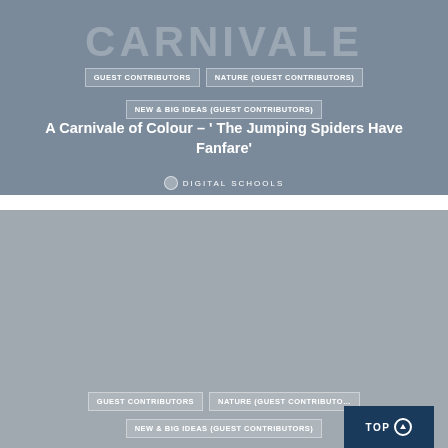[Figure (photo): Top article card with dark blue-grey blurred background and CARNIVALE watermark text]
GUEST CONTRIBUTORS
NATURE (GUEST CONTRIBUTORS)
NEW & BIG IDEAS (GUEST CONTRIBUTORS)
A Carnivale of Colour – ' The Jumping Spiders Have Fanfare'
DIGITAL SCHOOLS
[Figure (photo): Bottom article card with grey blurred background]
GUEST CONTRIBUTORS
NATURE (GUEST CONTRIBUTORS)
NEW & BIG IDEAS (GUEST CONTRIBUTORS)